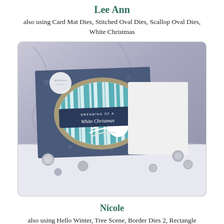Lee Ann
also using Card Mat Dies, Stitched Oval Dies, Scallop Oval Dies, White Christmas
[Figure (photo): Photo of a handmade Christmas card with teal and white striped birch tree background, scalloped oval die cut, white pine cone and snowflake embellishments, and a banner reading 'DREAMING OF A White Christmas'. Card is displayed on a white wood surface with silver jingle bells around it.]
Nicole
also using Hello Winter, Tree Scene, Border Dies 2, Rectangle